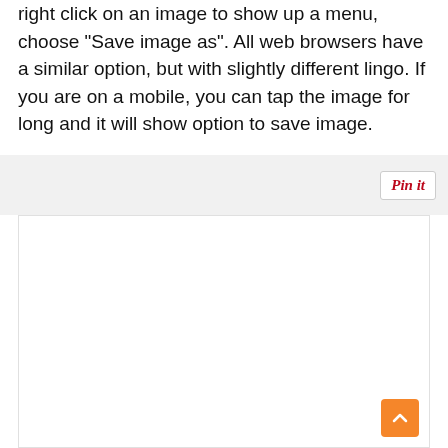right click on an image to show up a menu, choose "Save image as". All web browsers have a similar option, but with slightly different lingo. If you are on a mobile, you can tap the image for long and it will show option to save image.
[Figure (screenshot): A Pinterest 'Pin it' button in the top-right area of a light gray bar, followed by a large white empty image placeholder area below it, with an orange scroll-to-top button in the bottom-right corner.]